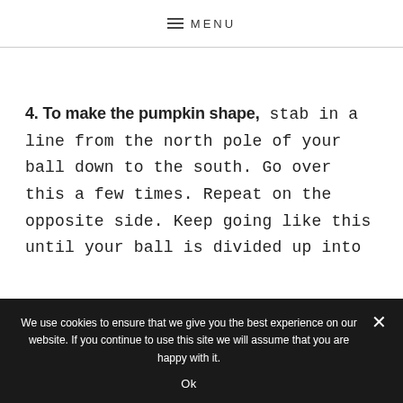MENU
4. To make the pumpkin shape, stab in a line from the north pole of your ball down to the south. Go over this a few times. Repeat on the opposite side. Keep going like this until your ball is divided up into
We use cookies to ensure that we give you the best experience on our website. If you continue to use this site we will assume that you are happy with it.
Ok